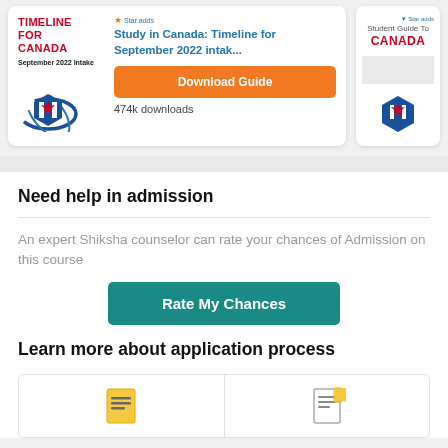[Figure (screenshot): Card showing 'Timeline for Canada September 2022 Intake' guide with a Download Guide button and 474k downloads count]
[Figure (screenshot): Partial card showing 'Student Guide To Canada' with Canadian flag hex icon]
Need help in admission
An expert Shiksha counselor can rate your chances of Admission on this course
Rate My Chances
Learn more about application process
[Figure (screenshot): Two document icon cells at bottom representing application process resources]